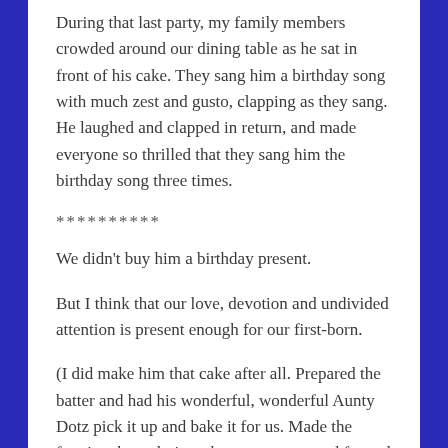During that last party, my family members crowded around our dining table as he sat in front of his cake. They sang him a birthday song with much zest and gusto, clapping as they sang. He laughed and clapped in return, and made everyone so thrilled that they sang him the birthday song three times.
**********
We didn't buy him a birthday present.
But I think that our love, devotion and undivided attention is present enough for our first-born.
(I did make him that cake after all. Prepared the batter and had his wonderful, wonderful Aunty Dotz pick it up and bake it for us. Made the frosting, brought it to the party venue and frosted it right before we sang the song.)